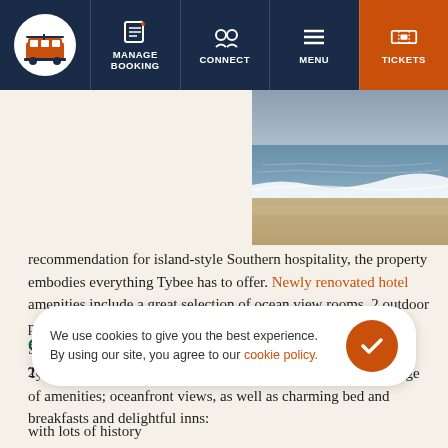MANAGE BOOKING | CONNECT | MENU | TICKETS
[Figure (photo): Aerial or beach-level view of ocean waves washing onto a sandy beach at Tybee Island]
recommendation for island-style Southern hospitality, the property embodies everything Tybee has to offer. Newly renovated hotel amenities include a great selection of ocean view rooms, 2 outdoor pools, easy beach access, and complimentary WiFi. Winner of South Magazine’s 2016 Best Place To Stay and Discover Tybee’s 2015 Best Place To Stay.
OTHER HOTEL OPTIONS
Tybee Island has a variety of lodging options that include a range of amenities; oceanfront views, as well as charming bed and breakfasts and delightful inns:
We use cookies to give you the best experience. By using our site, you agree to our cookie policy.
with lots of history